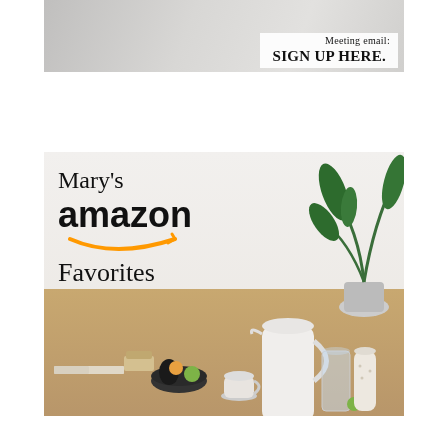[Figure (photo): Top banner with white/gray background showing text overlay: 'Meeting email: SIGN UP HERE.' on right side]
[Figure (photo): Mary's Amazon Favorites promotional banner showing text 'Mary's amazon Favorites' with Amazon smile logo in orange, over a photo of a wooden desk with a white pitcher, cups, bowls with fruit, a plant, and an open book]